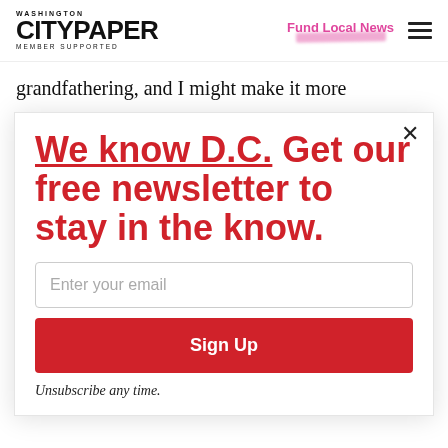Washington City Paper - Member Supported | Fund Local News
grandfathering, and I might make it more
[Figure (other): Newsletter signup modal overlay with headline, email input, and sign up button]
We know D.C. Get our free newsletter to stay in the know.
Enter your email
Sign Up
Unsubscribe any time.